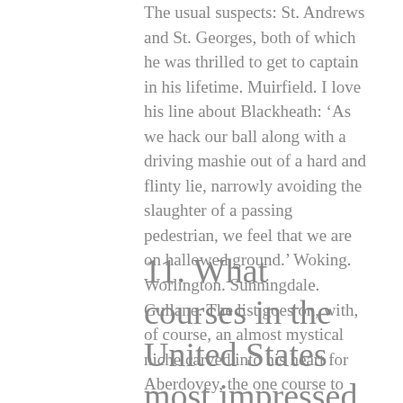The usual suspects: St. Andrews and St. Georges, both of which he was thrilled to get to captain in his lifetime. Muirfield. I love his line about Blackheath: ‘As we hack our ball along with a driving mashie out of a hard and flinty lie, narrowly avoiding the slaughter of a passing pedestrian, we feel that we are on hallowed ground.’ Woking. Worlington. Sunningdale. Gullane. The list goes on, with, of course, an almost mystical niche carved into his heart for Aberdovey, the one course to which he always returned.
11. What courses in the United States most impressed him during his visits?